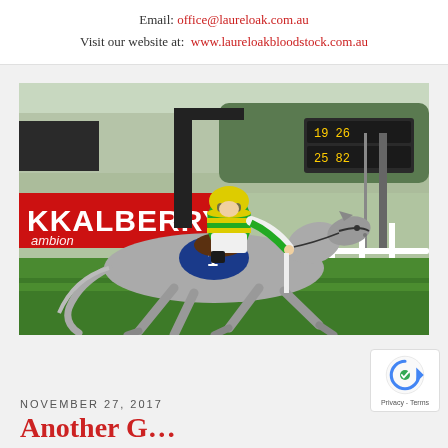Email: office@laureloak.com.au
Visit our website at: www.laureloakbloodstock.com.au
[Figure (photo): A grey horse wearing number 1 saddlecloth being ridden by a jockey in green, yellow and blue silks at a horse racing venue. A red KKALBERRY banner is visible in the background along with electronic scoreboards and a white rail fence. Green grass track.]
NOVEMBER 27, 2017
Another Gr...